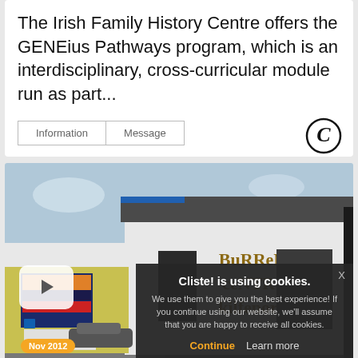The Irish Family History Centre offers the GENEius Pathways program, which is an interdisciplinary, cross-curricular module run as part...
[Figure (screenshot): Two UI buttons labeled 'Information' and 'Message' with a Cliste! logo (circular C icon) to the right]
[Figure (photo): Photo of a building exterior with 'Burren Centre Kilfenora' sign, a play button overlay, a date badge showing 'Nov 2012', and a cookie consent overlay reading 'Cliste! is using cookies. We use them to give you the best experience! If you continue using our website, we'll assume that you are happy to receive all cookies.' with 'Continue' and 'Learn more' buttons]
The Burren Centre